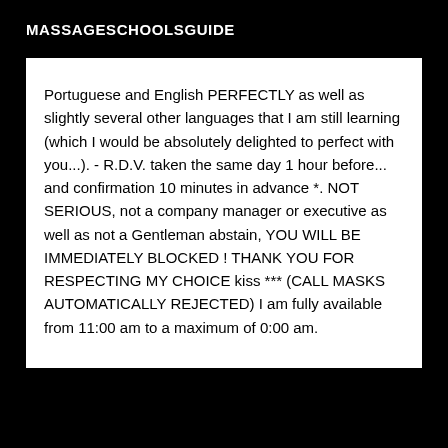MASSAGESCHOOLSGUIDE
Portuguese and English PERFECTLY as well as slightly several other languages that I am still learning (which I would be absolutely delighted to perfect with you...). - R.D.V. taken the same day 1 hour before... and confirmation 10 minutes in advance *. NOT SERIOUS, not a company manager or executive as well as not a Gentleman abstain, YOU WILL BE IMMEDIATELY BLOCKED ! THANK YOU FOR RESPECTING MY CHOICE kiss *** (CALL MASKS AUTOMATICALLY REJECTED) I am fully available from 11:00 am to a maximum of 0:00 am.
[Figure (photo): Black rectangle image placeholder at bottom of page]